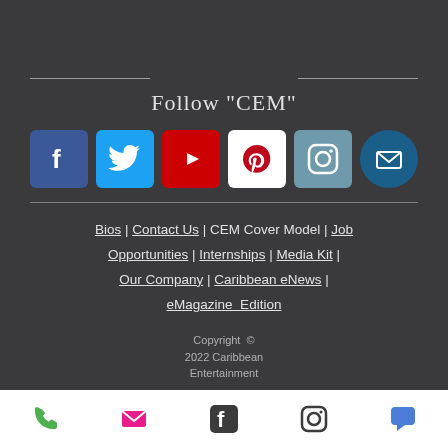Follow "CEM"
[Figure (infographic): Six social media icons in a row: Facebook (blue), Twitter (light blue), YouTube (red), Pinterest (white/red), Instagram (teal), Email (dark blue circle)]
Bios | Contact Us | CEM Cover Model | Job Opportunities | Internships | Media Kit | Our Company | Caribbean eNews | eMagazine Edition
Copyright © 2022 Caribbean Entertainment
[Figure (infographic): Bottom navigation bar with icons: phone (green), email (pink), Facebook (black), Instagram (black), chat/comment (blue)]